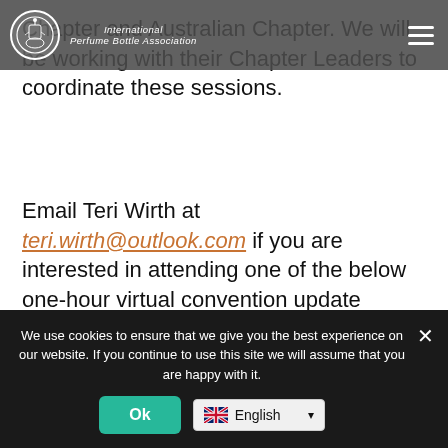International Perfume Bottle Association
Chapter and Australian Chapter. We will be working with their Chapter Leaders to coordinate these sessions.
Email Teri Wirth at teri.wirth@outlook.com if you are interested in attending one of the below one-hour virtual convention update sessions:
We use cookies to ensure that we give you the best experience on our website. If you continue to use this site we will assume that you are happy with it.